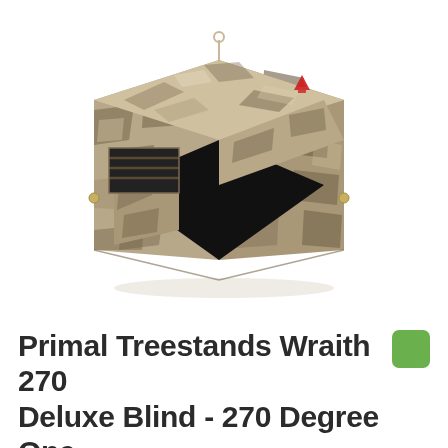[Figure (photo): Primal Treestands Wraith 270 Deluxe ground blind in camouflage pattern (tan, brown, black), cube-shaped with open front panels showing dark interior, small red logo on upper right panel, on white background.]
Primal Treestands Wraith 270 Deluxe Blind - 270 Degree One-